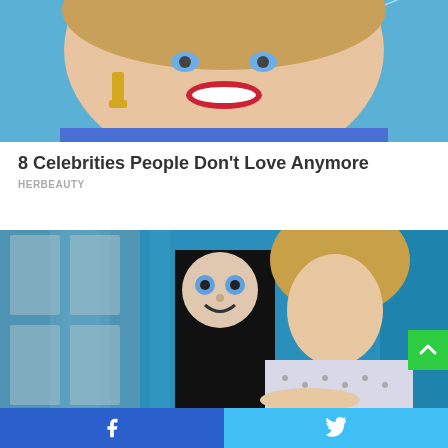[Figure (photo): Close-up photo of a smiling woman with red lipstick and gold earrings against a bright blue background]
8 Celebrities People Don't Love Anymore
HERBEAUTY
[Figure (photo): Movie scene with a woman in a hospital gown and a masked figure behind blue curtains]
Facebook share button and Twitter share button